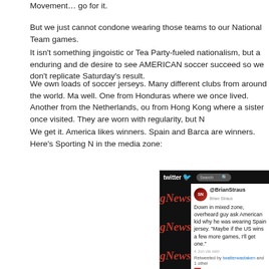Movement… go for it.
But we just cannot condone wearing those teams to our National Team games.
It isn't something jingoistic or Tea Party-fueled nationalism, but a enduring and de desire to see AMERICAN soccer succeed so we don't replicate Saturday's result.
We own loads of soccer jerseys. Many different clubs from around the world. Ma well. One from Honduras where we once lived. Another from the Netherlands, ou from Hong Kong where a sister once visited. They are worn with regularity, but N
We get it. America likes winners. Spain and Barca are winners. Here's Sporting N in the media zone:
[Figure (screenshot): Screenshot of a Twitter post by @BrianStraus embedded in a Sporting News webpage. The tweet reads: 'Down in mixed zone, overheard guy ask American kid why he was wearing Spain jersey. "Maybe if the US wins a few more games, I'll get one."' The tweet shows a timestamp, and is retweeted by twatterwastaken and 1 other. Action icons show a red square and the number 19.]